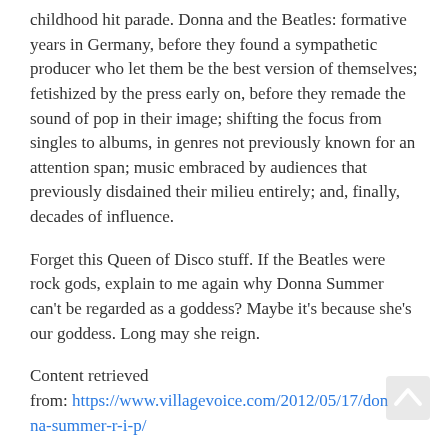childhood hit parade. Donna and the Beatles: formative years in Germany, before they found a sympathetic producer who let them be the best version of themselves; fetishized by the press early on, before they remade the sound of pop in their image; shifting the focus from singles to albums, in genres not previously known for an attention span; music embraced by audiences that previously disdained their milieu entirely; and, finally, decades of influence.
Forget this Queen of Disco stuff. If the Beatles were rock gods, explain to me again why Donna Summer can't be regarded as a goddess? Maybe it's because she's our goddess. Long may she reign.
Content retrieved from: https://www.villagevoice.com/2012/05/17/donna-summer-r-i-p/